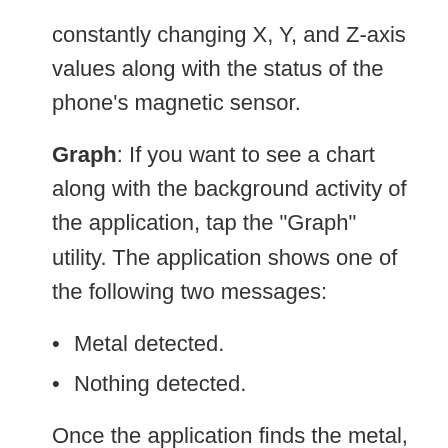constantly changing X, Y, and Z-axis values along with the status of the phone's magnetic sensor.
Graph: If you want to see a chart along with the background activity of the application, tap the "Graph" utility. The application shows one of the following two messages:
Metal detected.
Nothing detected.
Once the application finds the metal, the smartphone will play the beep sound.
Android   IOS [Similar]
Steel Find...